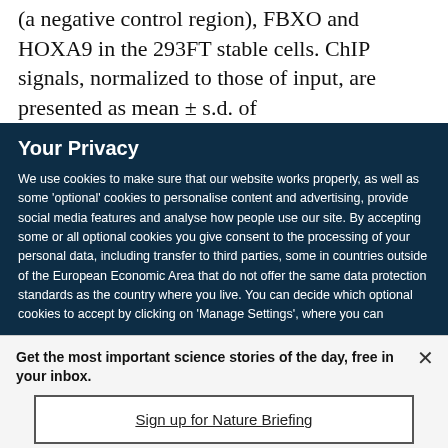(a negative control region), FBXO and HOXA9 in the 293FT stable cells. ChIP signals, normalized to those of input, are presented as mean ± s.d. of
Your Privacy
We use cookies to make sure that our website works properly, as well as some 'optional' cookies to personalise content and advertising, provide social media features and analyse how people use our site. By accepting some or all optional cookies you give consent to the processing of your personal data, including transfer to third parties, some in countries outside of the European Economic Area that do not offer the same data protection standards as the country where you live. You can decide which optional cookies to accept by clicking on 'Manage Settings', where you can
Get the most important science stories of the day, free in your inbox.
Sign up for Nature Briefing